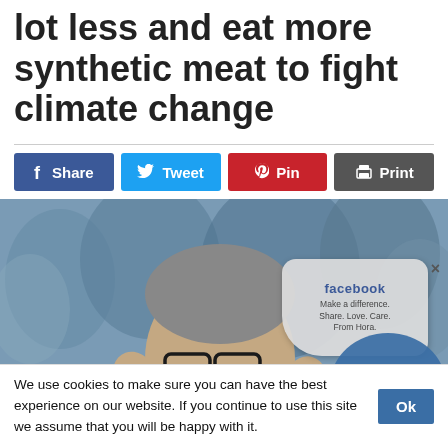lot less and eat more synthetic meat to fight climate change
[Figure (photo): Photo of a middle-aged man with glasses and grey hair gesturing with both hands raised, wearing a dark blazer. Background shows blurred blue-grey wintry trees. Overlaid with a Facebook social sharing badge and an 'I LOVE' sticker graphic.]
We use cookies to make sure you can have the best experience on our website. If you continue to use this site we assume that you will be happy with it.